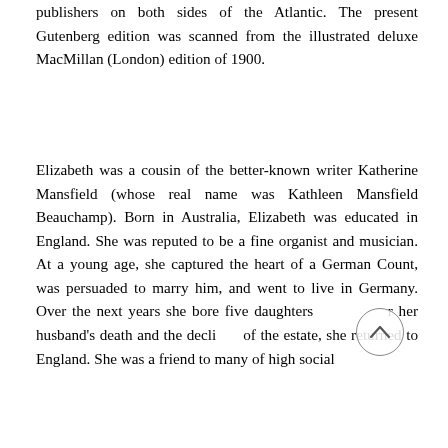publishers on both sides of the Atlantic. The present Gutenberg edition was scanned from the illustrated deluxe MacMillan (London) edition of 1900.
Elizabeth was a cousin of the better-known writer Katherine Mansfield (whose real name was Kathleen Mansfield Beauchamp). Born in Australia, Elizabeth was educated in England. She was reputed to be a fine organist and musician. At a young age, she captured the heart of a German Count, was persuaded to marry him, and went to live in Germany. Over the next years she bore five daughters and after her husband's death and the decline of the estate, she returned to England. She was a friend to many of high social standing, including...